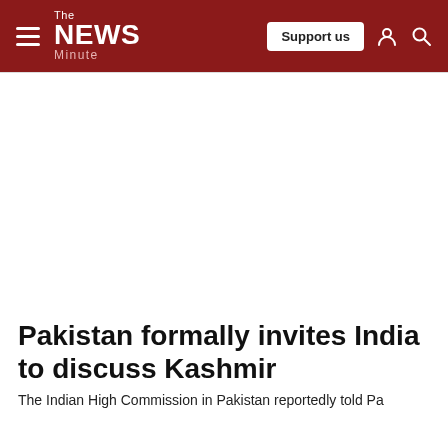The News Minute — Support us
Pakistan formally invites India to discuss Kashmir
The Indian High Commission in Pakistan reportedly told Pa